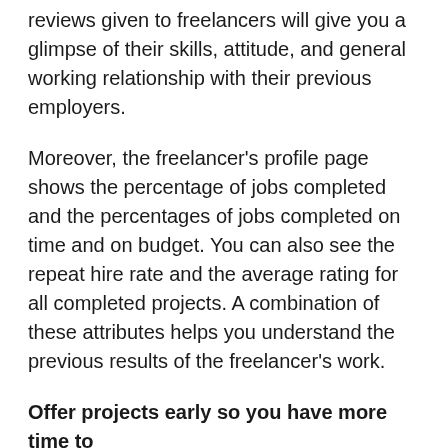reviews given to freelancers will give you a glimpse of their skills, attitude, and general working relationship with their previous employers.
Moreover, the freelancer's profile page shows the percentage of jobs completed and the percentages of jobs completed on time and on budget. You can also see the repeat hire rate and the average rating for all completed projects. A combination of these attributes helps you understand the previous results of the freelancer's work.
Offer projects early so you have more time to